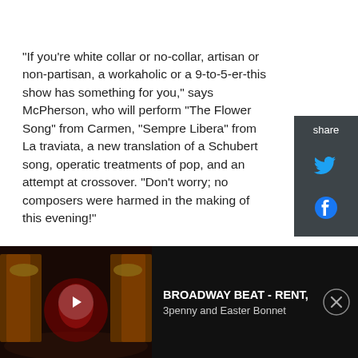"If you're white collar or no-collar, artisan or non-partisan, a workaholic or a 9-to-5-er-this show has something for you," says McPherson, who will perform "The Flower Song" from Carmen, "Sempre Libera" from La traviata, a new translation of a Schubert song, operatic treatments of pop, and an attempt at crossover. "Don't worry; no composers were harmed in the making of this evening!"
Growing up, McPherson was inspired by artists who blended comedy and classical music such as Victor
[Figure (screenshot): Share panel on the right side with Twitter and Facebook icons on dark grey background. Label 'share' at top.]
[Figure (screenshot): Video player bar at bottom showing a dark theatre stage with red curtain. Play button in center. Overlay text: BROADWAY BEAT - RENT, 3penny and Easter Bonnet. Close (X) button on the right.]